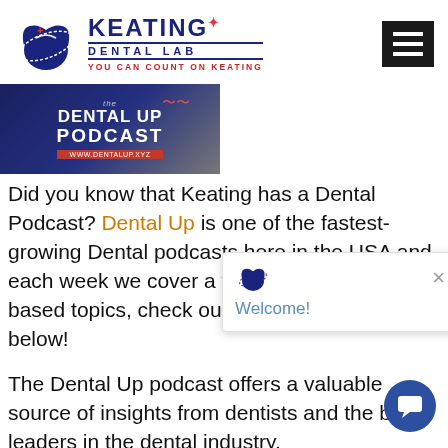[Figure (logo): Keating Dental Lab logo with tooth graphic, 'KEATING' in blue bold text, 'DENTAL LAB' subtitle, 'YOU CAN COUNT ON KEATING' slogan in red, and red star accent]
[Figure (photo): The Dental Up Podcast banner image with dark blue/grey background showing 'the DENTAL UP PODCAST' text and www.dentalup.xyz URL bar in red]
Did you know that Keating has a Dental Podcast? Dental Up is one of the fastest-growing Dental podcasts here in the USA and each week we cover a variety of top dental-based topics, check out some of the episodes below!
The Dental Up podcast offers a valuable source of insights from dentists and the best leaders in the dental industry.